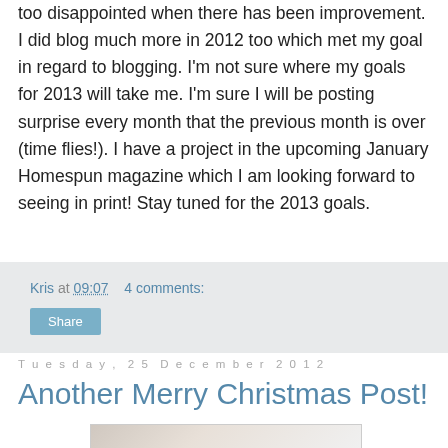too disappointed when there has been improvement. I did blog much more in 2012 too which met my goal in regard to blogging. I'm not sure where my goals for 2013 will take me. I'm sure I will be posting surprise every month that the previous month is over (time flies!). I have a project in the upcoming January Homespun magazine which I am looking forward to seeing in print! Stay tuned for the 2013 goals.
Kris at 09:07    4 comments:
Share
Tuesday, 25 December 2012
Another Merry Christmas Post!
[Figure (photo): Partially visible image at bottom of page showing what appears to be a Christmas-themed photo with a red star visible]